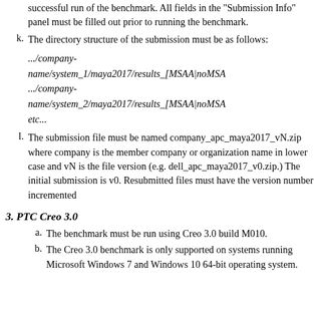successful run of the benchmark. All fields in the "Submission Info" panel must be filled out prior to running the benchmark.
k. The directory structure of the submission must be as follows:
.../company-name/system_1/maya2017/results_[MSAA|noMSA
.../company-name/system_2/maya2017/results_[MSAA|noMSA
etc...
l. The submission file must be named company_apc_maya2017_vN.zip where company is the member company or organization name in lower case and vN is the file version (e.g. dell_apc_maya2017_v0.zip.) The initial submission is v0. Resubmitted files must have the version number incremented
3. PTC Creo 3.0
a. The benchmark must be run using Creo 3.0 build M010.
b. The Creo 3.0 benchmark is only supported on systems running Microsoft Windows 7 and Windows 10 64-bit operating system.